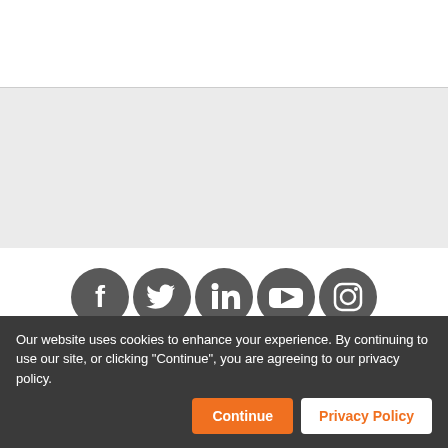[Figure (illustration): White top section of a webpage header]
[Figure (illustration): Gray band section of webpage]
[Figure (illustration): Social media icons row: Facebook, Twitter, LinkedIn, YouTube, Instagram — dark gray circles with white icons]
Wellesley Centers for Women
Wellesley College
106 Central Street
Wellesley, MA 02481-8203 USA
781.283.2500
WCW@wellesley.edu
Our website uses cookies to enhance your experience. By continuing to use our site, or clicking "Continue", you are agreeing to our privacy policy.